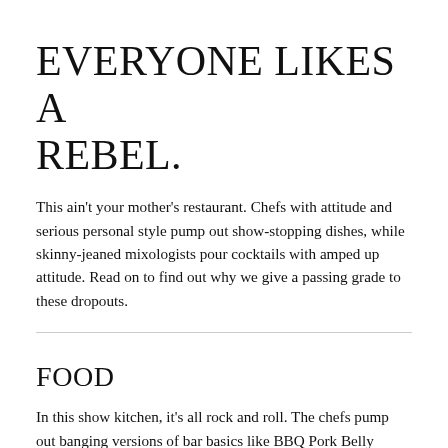EVERYONE LIKES A REBEL.
This ain't your mother's restaurant. Chefs with attitude and serious personal style pump out show-stopping dishes, while skinny-jeaned mixologists pour cocktails with amped up attitude. Read on to find out why we give a passing grade to these dropouts.
FOOD
In this show kitchen, it's all rock and roll. The chefs pump out banging versions of bar basics like BBQ Pork Belly Nachos, banging versions of bar basics like BBQ Pork Belly Nachos,